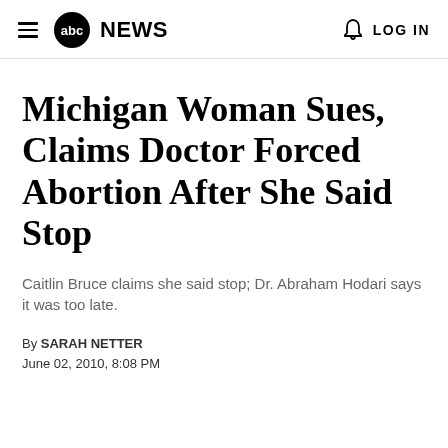abc NEWS  LOG IN
Michigan Woman Sues, Claims Doctor Forced Abortion After She Said Stop
Caitlin Bruce claims she said stop; Dr. Abraham Hodari says it was too late.
By SARAH NETTER
June 02, 2010, 8:08 PM